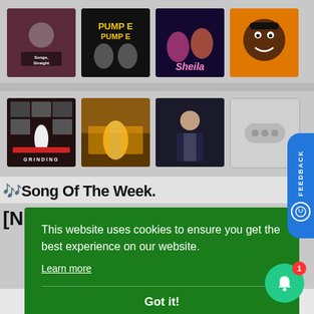[Figure (screenshot): Music website screenshot showing 8 album art thumbnails in 2 rows of 4. Row 1: 'Songs Straight' album (dark reddish background with figure), 'Pump E' album (dark background with text 'PUMP E' and two people), 'Sheila' album (dark purple with two women), and orange album with cartoon face. Row 2: 'Grinding' album (dark background with person leaning on car), yellow/gold toned album (woman in yellow dress on train/bus), dark album (man in suit), and gray placeholder with three dots icon.]
🎵Song Of The Week.
This website uses cookies to ensure you get the best experience on our website.
Learn more
Got it!
Awanle Viral